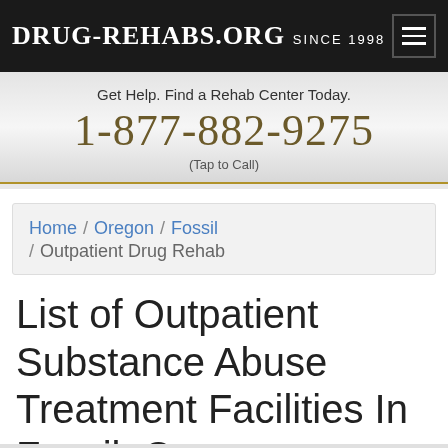Drug-Rehabs.org Since 1998
Get Help. Find a Rehab Center Today.
1-877-882-9275
(Tap to Call)
Home / Oregon / Fossil / Outpatient Drug Rehab
List of Outpatient Substance Abuse Treatment Facilities In Fossil, Oregon